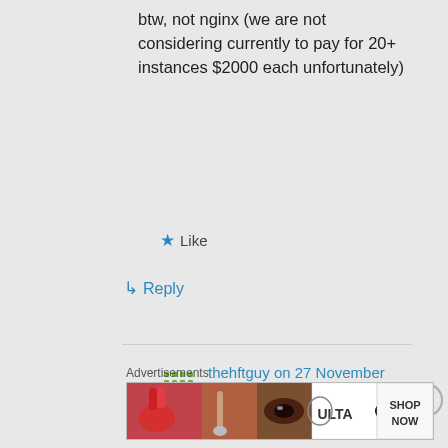btw, not nginx (we are not considering currently to pay for 20+ instances $2000 each unfortunately)
Like
Reply
thehftguy on 27 November 2017 at 11:37
There are many
Advertisements